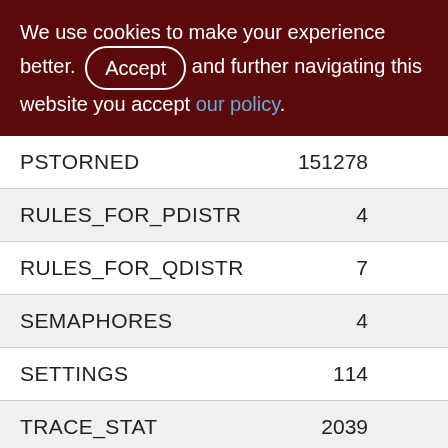We use cookies to make your experience better. By accepting and further navigating this website you accept our policy.
| Name | Value |
| --- | --- |
| PSTORNED | 151278 |
| RULES_FOR_PDISTR | 4 |
| RULES_FOR_QDISTR | 7 |
| SEMAPHORES | 4 |
| SETTINGS | 114 |
| TRACE_STAT | 2039 |
| WARES | 400 |
| WARE_GROUPS | 8 |
| XOR_1000_1000 | 8700785 |